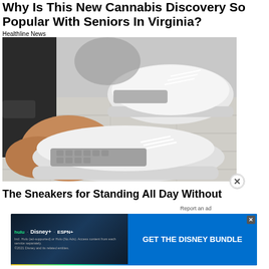Why Is This New Cannabis Discovery So Popular With Seniors In Virginia?
Healthline News
[Figure (photo): Person putting on white and grey athletic sneakers on a wooden floor background]
The Sneakers for Standing All Day Without
Report an ad
[Figure (screenshot): Disney Bundle advertisement banner featuring Hulu, Disney+, and ESPN+ logos with GET THE DISNEY BUNDLE call to action button. Fine print: Incl. Hulu (ad-supported) or Hulu (No Ads). Access content from each service separately. ©2021 Disney and its related entities.]